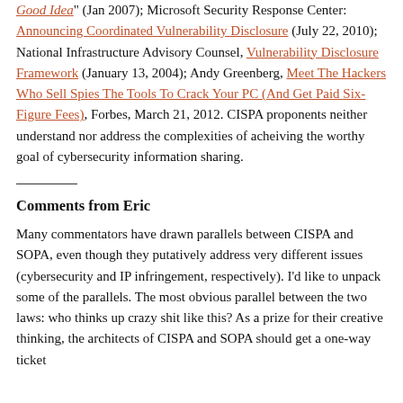Good Idea" (Jan 2007); Microsoft Security Response Center: Announcing Coordinated Vulnerability Disclosure (July 22, 2010); National Infrastructure Advisory Counsel, Vulnerability Disclosure Framework (January 13, 2004); Andy Greenberg, Meet The Hackers Who Sell Spies The Tools To Crack Your PC (And Get Paid Six-Figure Fees), Forbes, March 21, 2012. CISPA proponents neither understand nor address the complexities of acheiving the worthy goal of cybersecurity information sharing.
Comments from Eric
Many commentators have drawn parallels between CISPA and SOPA, even though they putatively address very different issues (cybersecurity and IP infringement, respectively). I'd like to unpack some of the parallels. The most obvious parallel between the two laws: who thinks up crazy shit like this? As a prize for their creative thinking, the architects of CISPA and SOPA should get a one-way ticket...